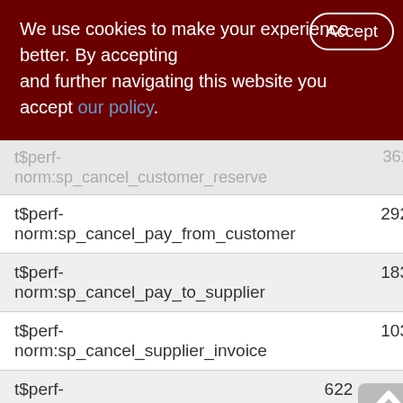We use cookies to make your experience better. By accepting and further navigating this website you accept our policy.
| Name | Col2 | Col3 |
| --- | --- | --- |
| t$perf-norm:sp_cancel_customer_reserve | 3618 | 36 |
| t$perf-norm:sp_cancel_pay_from_customer | 2925 | 29 |
| t$perf-norm:sp_cancel_pay_to_supplier | 1834 | 18 |
| t$perf-norm:sp_cancel_supplier_invoice | 1031 | 10 |
| t$perf-norm:sp_cancel_supplier_order | 622 | 6 |
| t$perf-norm:sp_cancel_write_off | 4301 | 43 |